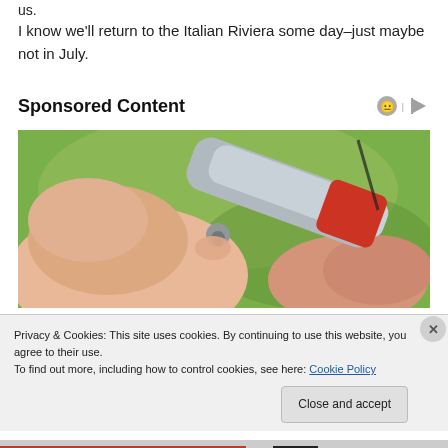us.
I know we'll return to the Italian Riviera some day–just maybe not in July.
Sponsored Content
[Figure (photo): Close-up photo of a finger being pricked by a medical lancet pen device, with a green blurred background]
Privacy & Cookies: This site uses cookies. By continuing to use this website, you agree to their use.
To find out more, including how to control cookies, see here: Cookie Policy
Close and accept